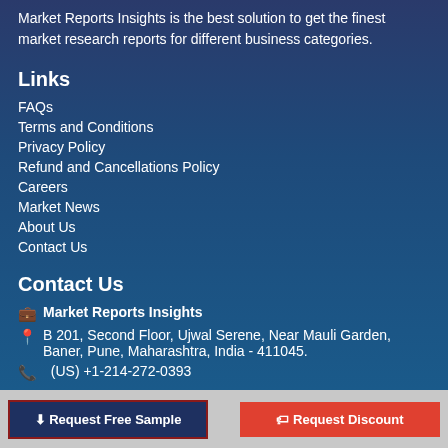Market Reports Insights is the best solution to get the finest market research reports for different business categories.
Links
FAQs
Terms and Conditions
Privacy Policy
Refund and Cancellations Policy
Careers
Market News
About Us
Contact Us
Contact Us
🗃 Market Reports Insights
📍 B 201, Second Floor, Ujwal Serene, Near Mauli Garden, Baner, Pune, Maharashtra, India - 411045.
📞  (US) +1-214-272-0393
⬇ Request Free Sample
🏷 Request Discount